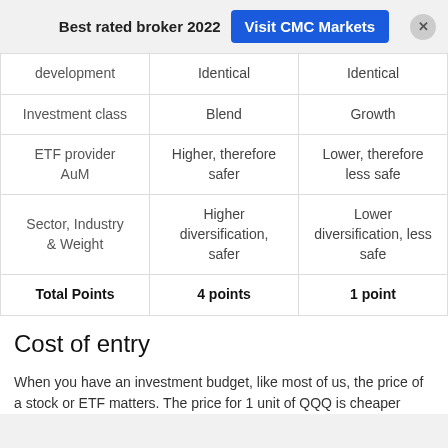Best rated broker 2022  Visit CMC Markets
|  |  |  |
| --- | --- | --- |
| development | Identical | Identical |
| Investment class | Blend | Growth |
| ETF provider AuM | Higher, therefore safer | Lower, therefore less safe |
| Sector, Industry & Weight | Higher diversification, safer | Lower diversification, less safe |
| Total Points | 4 points | 1 point |
Cost of entry
When you have an investment budget, like most of us, the price of a stock or ETF matters. The price for 1 unit of QQQ is cheaper